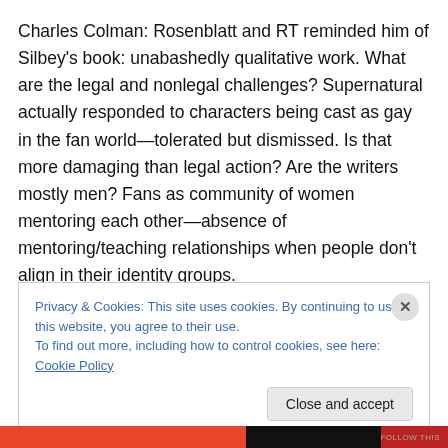Charles Colman:  Rosenblatt and RT reminded him of Silbey's book: unabashedly qualitative work. What are the legal and nonlegal challenges?  Supernatural actually responded to characters being cast as gay in the fan world—tolerated but dismissed. Is that more damaging than legal action?  Are the writers mostly men?  Fans as community of women mentoring each other—absence of mentoring/teaching relationships when people don't align in their identity groups.
Privacy & Cookies: This site uses cookies. By continuing to use this website, you agree to their use.
To find out more, including how to control cookies, see here: Cookie Policy
Close and accept